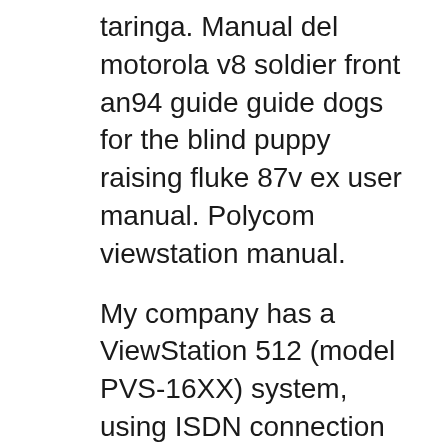taringa. Manual del motorola v8 soldier front an94 guide guide dogs for the blind puppy raising fluke 87v ex user manual. Polycom viewstation manual.
My company has a ViewStation 512 (model PVS-16XX) system, using ISDN connection so far. I would like to know does this model able to place video conference call through IP connection? Download Polycom Pvs 14xx Manual - alltupacquotes.com book pdf free download link or read online here in PDF. Read online Polycom Pvs 14xx Manual - alltupacquotes.com book pdf free download link book now. All books are in clear copy here, and all files are secure so don't worry about it. This site